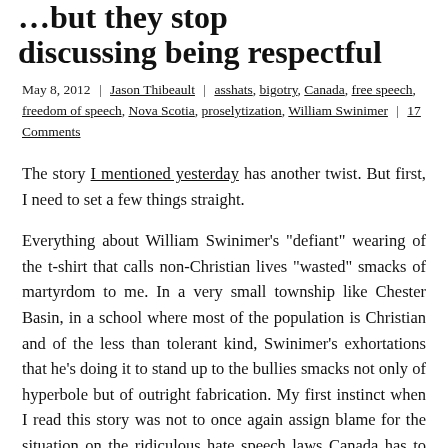…but they stop discussing being respectful
May 8, 2012 | Jason Thibeault | asshats, bigotry, Canada, free speech, freedom of speech, Nova Scotia, proselytization, William Swinimer | 17 Comments
The story I mentioned yesterday has another twist. But first, I need to set a few things straight.
Everything about William Swinimer's “defiant” wearing of the t-shirt that calls non-Christian lives “wasted” smacks of martyrdom to me. In a very small township like Chester Basin, in a school where most of the population is Christian and of the less than tolerant kind, Swinimer's exhortations that he's doing it to stand up to the bullies smacks not only of hyperbole but of outright fabrication. My first instinct when I read this story was not to once again assign blame for the situation on the ridiculous hate speech laws Canada has to suffer (which, yes, this case